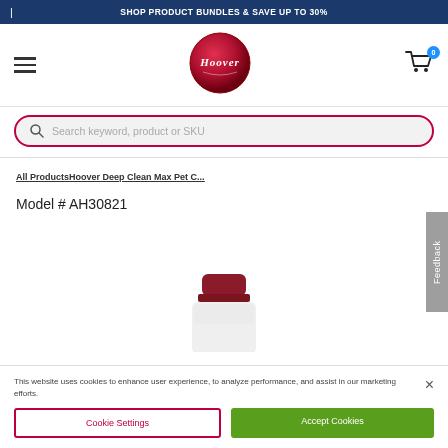SHOP PRODUCT BUNDLES & SAVE UP TO 30%
[Figure (logo): Hoover brand logo — red circular badge with white 'Hoover' script]
[Figure (other): Shopping cart icon with blue badge showing 0]
Search keyword, product or SKU
All ProductsHoover Deep Clean Max Pet C...
Model # AH30821
[Figure (photo): Top portion of a white bottle with a dark red/crimson cap — Hoover cleaning solution product]
Feedback
This website uses cookies to enhance user experience, to analyze performance, and assist in our marketing efforts.
Cookie Settings
Accept Cookies